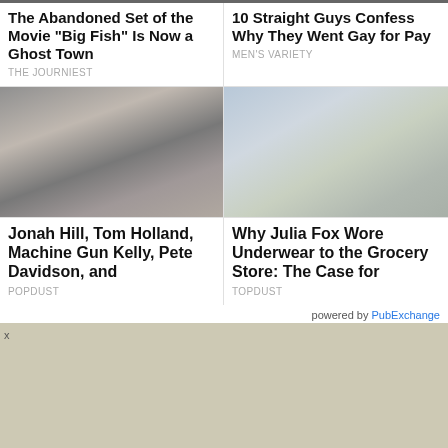The Abandoned Set of the Movie "Big Fish" Is Now a Ghost Town
THE JOURNIEST
10 Straight Guys Confess Why They Went Gay for Pay
MEN'S VARIETY
[Figure (photo): Men in a living room setting, some in underwear and casual clothes]
[Figure (photo): Woman wearing underwear and a long blue coat walking on a street, and another woman near a car]
Jonah Hill, Tom Holland, Machine Gun Kelly, Pete Davidson, and
POPDUST
Why Julia Fox Wore Underwear to the Grocery Store: The Case for
TOPDUST
powered by PubExchange